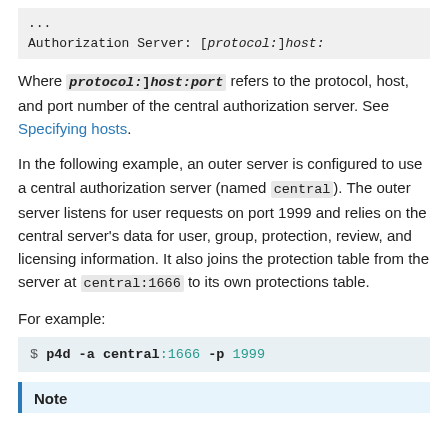...
Authorization Server: [protocol:]host:
Where [protocol:]host:port refers to the protocol, host, and port number of the central authorization server. See Specifying hosts.
In the following example, an outer server is configured to use a central authorization server (named central). The outer server listens for user requests on port 1999 and relies on the central server’s data for user, group, protection, review, and licensing information. It also joins the protection table from the server at central:1666 to its own protections table.
For example:
$ p4d -a central:1666 -p 1999
Note